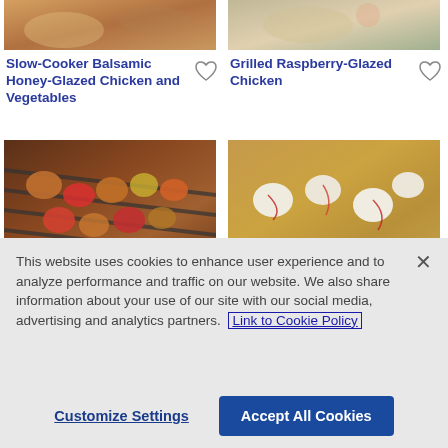[Figure (photo): Top-left partial food photo showing a plate with roasted vegetables]
[Figure (photo): Top-right partial food photo showing a plate with chicken and garnish]
Slow-Cooker Balsamic Honey-Glazed Chicken and Vegetables
Grilled Raspberry-Glazed Chicken
[Figure (photo): Grilled skewers with chicken, peppers and pineapple on a grill]
[Figure (photo): Sheet pan chicken with breadcrumb topping and drizzle]
Grilled Jerk Chicken
Sheet Pan Chicken
This website uses cookies to enhance user experience and to analyze performance and traffic on our website. We also share information about your use of our site with our social media, advertising and analytics partners. Link to Cookie Policy
Customize Settings
Accept All Cookies